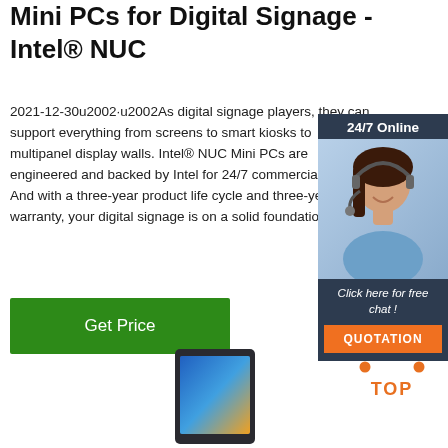Mini PCs for Digital Signage - Intel® NUC
2021-12-30u2002·u2002As digital signage players, they can support everything from screens to smart kiosks to multipanel display walls. Intel® NUC Mini PCs are engineered and backed by Intel for 24/7 commercial use. And with a three-year product life cycle and three-year warranty, your digital signage is on a solid foundation. 2 3.
[Figure (photo): Customer service representative with headset, smiling, with '24/7 Online' header, 'Click here for free chat!' text, and orange QUOTATION button]
[Figure (illustration): Green Get Price button]
[Figure (illustration): Orange dotted TOP icon in bottom right]
[Figure (photo): Dark tablet/kiosk device shown at bottom center of page]